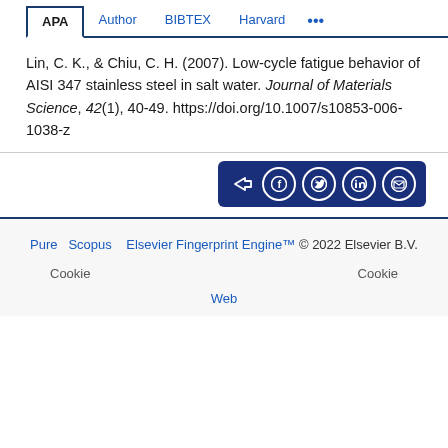APA | Author | BIBTEX | Harvard | ...
Lin, C. K., & Chiu, C. H. (2007). Low-cycle fatigue behavior of AISI 347 stainless steel in salt water. Journal of Materials Science, 42(1), 40-49. https://doi.org/10.1007/s10853-006-1038-z
[Figure (other): Social share button group with share, Facebook, Twitter, LinkedIn, and email icons on a dark blue background]
Pure Scopus Elsevier Fingerprint Engine™ © 2022 Elsevier B.V. Cookie Cookie Web